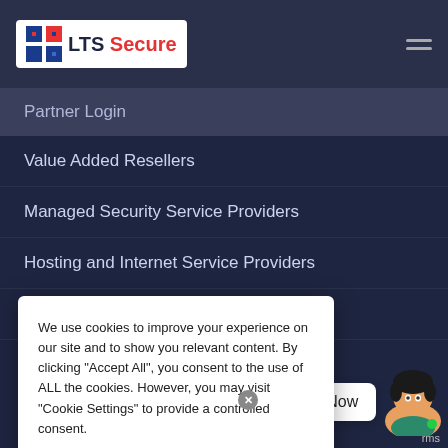[Figure (logo): LTS Secure logo with blue/red grid icon and white background box]
Partner Login
Value Added Resellers
Managed Security Service Providers
Hosting and Internet Service Providers
Resellers
We use cookies to improve your experience on our site and to show you relevant content. By clicking “Accept All”, you consent to the use of ALL the cookies. However, you may visit "Cookie Settings" to provide a controlled consent.
Cookie Settings
Accept All
Chat Now